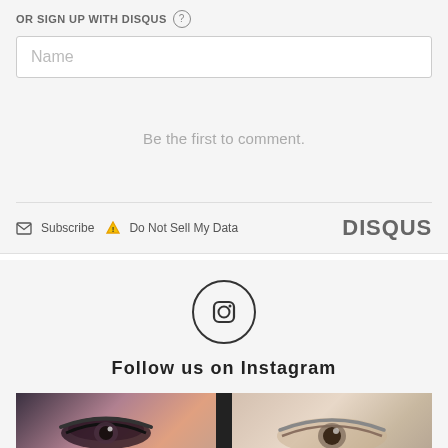OR SIGN UP WITH DISQUS ?
Name
Be the first to comment.
Subscribe  Do Not Sell My Data  DISQUS
[Figure (logo): Instagram camera icon inside a circle]
Follow us on Instagram
[Figure (photo): Two close-up photos of eyes/eyebrows side by side]